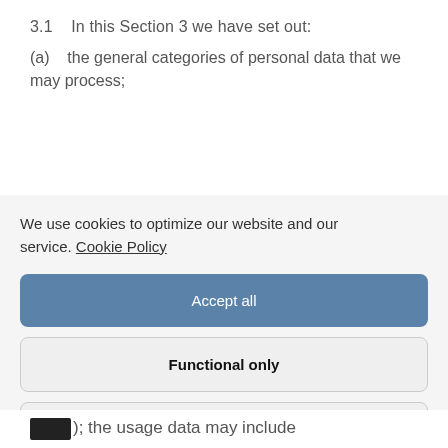3.1   In this Section 3 we have set out:
(a)   the general categories of personal data that we may process;
We use cookies to optimize our website and our service. Cookie Policy
Accept all
Functional only
View preferences
data ); the usage data may include